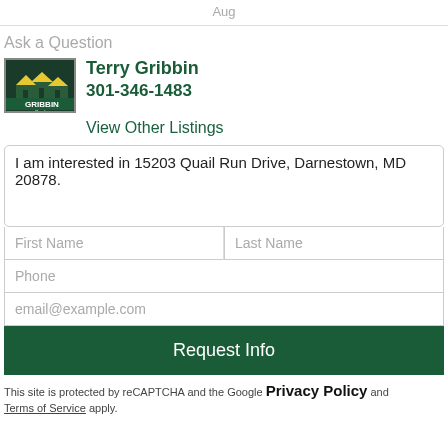Aug
Ask a Question
Terry Gribbin
301-346-1483
View Other Listings
I am interested in 15203 Quail Run Drive, Darnestown, MD 20878.
First Name
Last Name
Phone
email@example.com
Request Info
This site is protected by reCAPTCHA and the Google Privacy Policy and Terms of Service apply.